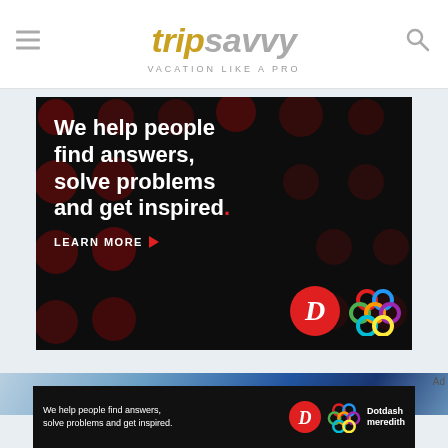tripsavvy VACATION LIKE A PRO
[Figure (screenshot): Dotdash Meredith advertisement on black background with dark red polka dots. Text reads: We help people find answers, solve problems and get inspired. LEARN MORE with a red arrow. Shows Dotdash D logo and colorful knot logo.]
[Figure (screenshot): Blue gradient band at bottom of page showing partial article image]
[Figure (screenshot): Bottom sticky ad banner on black background with text: We help people find answers, solve problems and get inspired. Shows Dotdash logo and Dotdash Meredith branding]
Ad